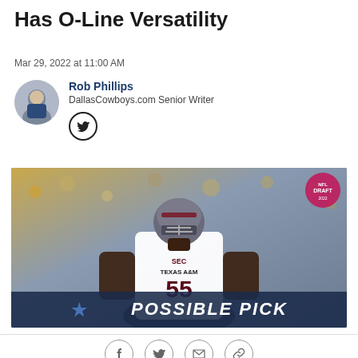Has O-Line Versatility
Mar 29, 2022 at 11:00 AM
Rob Phillips
DallasCowboys.com Senior Writer
[Figure (photo): Texas A&M football player wearing jersey number 55, in white uniform with SEC and Adidas logos, standing in a stadium. Overlay text reads 'POSSIBLE PICK' with a Dallas Cowboys star logo. NFL Draft badge visible top right.]
[Figure (infographic): Share bar with Facebook, Twitter, email, and link icons]